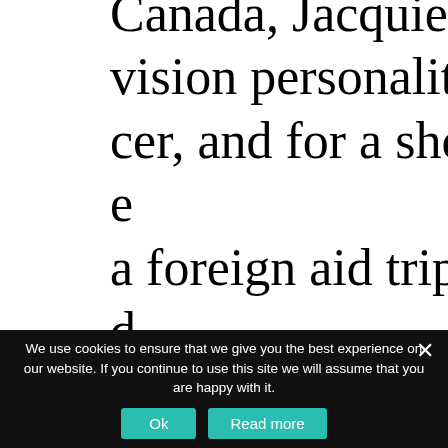Canada, Jacquie was a local radio and television personality, a playwright and producer, and for a short time, a politician. The a foreign aid trip to South Sudan changed everything. As well as writing this memoir, Jacquie is the co-founder of and image o-creator at Two Girls and an Elephant,
We use cookies to ensure that we give you the best experience on our website. If you continue to use this site we will assume that you are happy with it.